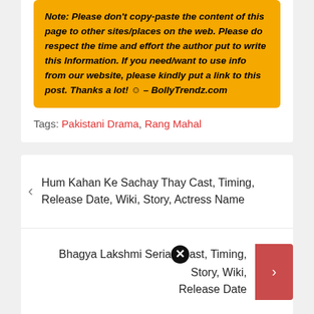Note: Please don't copy-paste the content of this page to other sites/places on the web. Please do respect the time and effort the author put to write this Information. If you need/want to use info from our website, please kindly put a link to this post. Thanks a lot! 🙂 – BollyTrendz.com
Tags: Pakistani Drama, Rang Mahal
Hum Kahan Ke Sachay Thay Cast, Timing, Release Date, Wiki, Story, Actress Name
Bhagya Lakshmi Serial Cast, Timing, Story, Wiki, Release Date